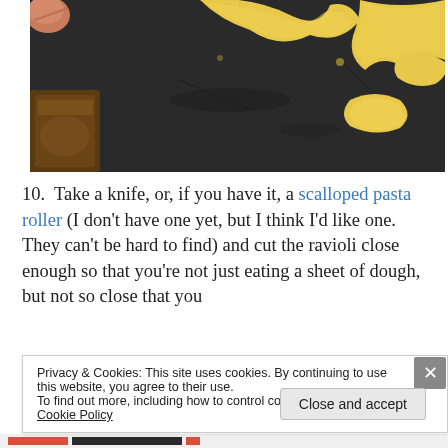[Figure (photo): A dark stone or metal surface with yellow pasta dough pieces/ravioli being prepared. A finger is visible in the top left corner holding dough. Pieces of yellow egg pasta dough are scattered on the dark surface, with some folded ravioli shapes visible.]
10.  Take a knife, or, if you have it, a scalloped pasta roller (I don't have one yet, but I think I'd like one.  They can't be hard to find) and cut the ravioli close enough so that you're not just eating a sheet of dough, but not so close that you
Privacy & Cookies: This site uses cookies. By continuing to use this website, you agree to their use.
To find out more, including how to control cookies, see here: Cookie Policy
Close and accept